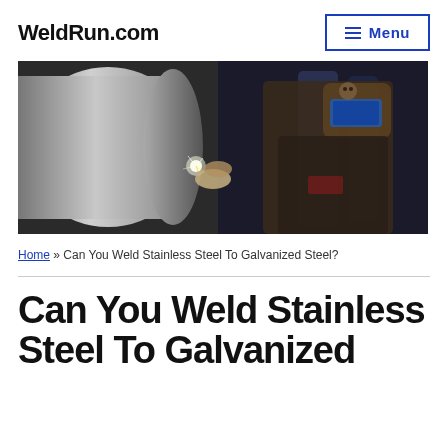WeldRun.com
[Figure (photo): A welder wearing a decorative skull welding helmet and protective gear welding a large stainless steel cylindrical component, with sparks visible at the weld point.]
Home » Can You Weld Stainless Steel To Galvanized Steel?
Can You Weld Stainless Steel To Galvanized